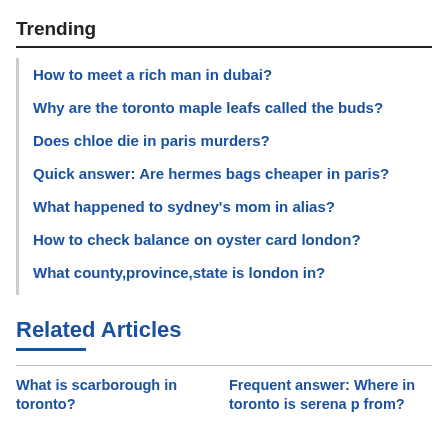Trending
How to meet a rich man in dubai?
Why are the toronto maple leafs called the buds?
Does chloe die in paris murders?
Quick answer: Are hermes bags cheaper in paris?
What happened to sydney's mom in alias?
How to check balance on oyster card london?
What county,province,state is london in?
Related Articles
What is scarborough in toronto?
Frequent answer: Where in toronto is serena p from?